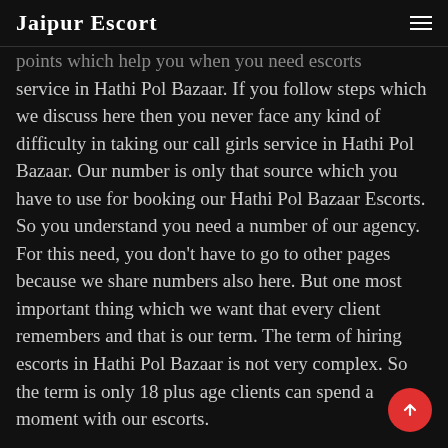Jaipur Escort
points which help you when you need escorts service in Hathi Pol Bazaar. If you follow steps which we discuss here then you never face any kind of difficulty in taking our call girls service in Hathi Pol Bazaar. Our number is only that source which you have to use for booking our Hathi Pol Bazaar Escorts. So you understand you need a number of our agency. For this need, you don't have to go to other pages because we share numbers also here. But one most important thing which we want that every client remembers and that is our term. The term of hiring escorts in Hathi Pol Bazaar is not very complex. So the term is only 18 plus age clients can spend a moment with our escorts.